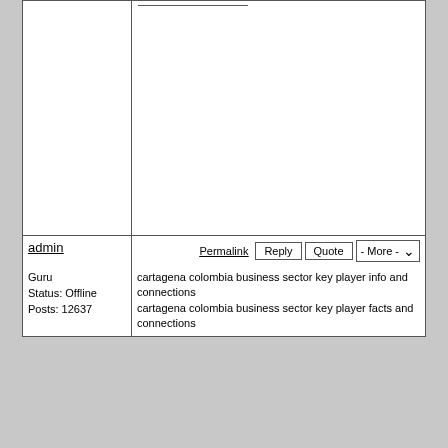admin
Permalink  Reply  Quote  - More -
Guru
Status: Offline
Posts: 12637
cartagena colombia business sector key player info and connections
cartagena colombia business sector key player facts and connections